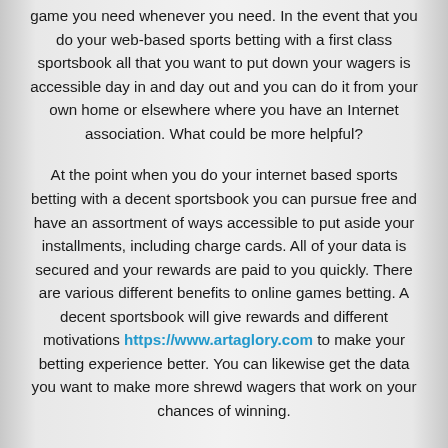game you need whenever you need. In the event that you do your web-based sports betting with a first class sportsbook all that you want to put down your wagers is accessible day in and day out and you can do it from your own home or elsewhere where you have an Internet association. What could be more helpful?
At the point when you do your internet based sports betting with a decent sportsbook you can pursue free and have an assortment of ways accessible to put aside your installments, including charge cards. All of your data is secured and your rewards are paid to you quickly. There are various different benefits to online games betting. A decent sportsbook will give rewards and different motivations https://www.artaglory.com to make your betting experience better. You can likewise get the data you want to make more shrewd wagers that work on your chances of winning.